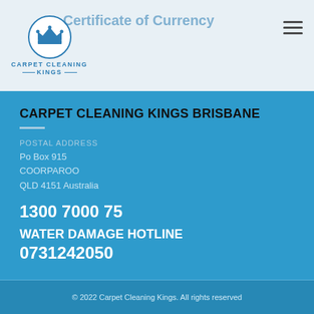Carpet Cleaning Kings
CARPET CLEANING KINGS BRISBANE
POSTAL ADDRESS
Po Box 915
COORPAROO
QLD 4151 Australia
1300 7000 75
WATER DAMAGE HOTLINE
0731242050
© 2022 Carpet Cleaning Kings. All rights reserved